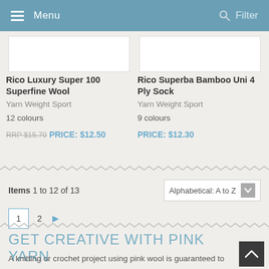Menu   Filter
Rico Luxury Super 100 Superfine Wool
Yarn Weight Sport
12 colours
RRP $15.70 PRICE: $12.50
Rico Superba Bamboo Uni 4 Ply Sock
Yarn Weight Sport
9 colours
PRICE: $12.30
Items 1 to 12 of 13   Alphabetical: A to Z
1  2  ▶
GET CREATIVE WITH PINK YARN
A knitting or crochet project using pink wool is guaranteed to